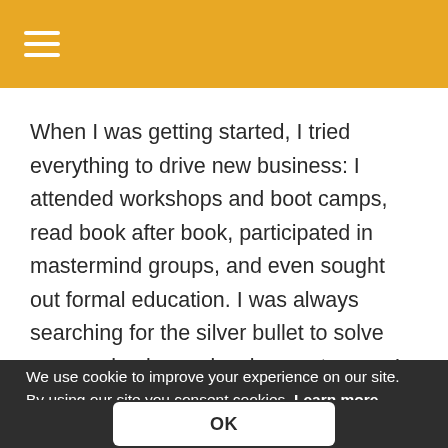When I was getting started, I tried everything to drive new business: I attended workshops and boot camps, read book after book, participated in mastermind groups, and even sought out formal education. I was always searching for the silver bullet to solve my new-business-development woes. I had exhausted all avenues to increase my skillset—or so I thought.
We use cookie to improve your experience on our site. By using our site you consent cookies. Learn more
OK